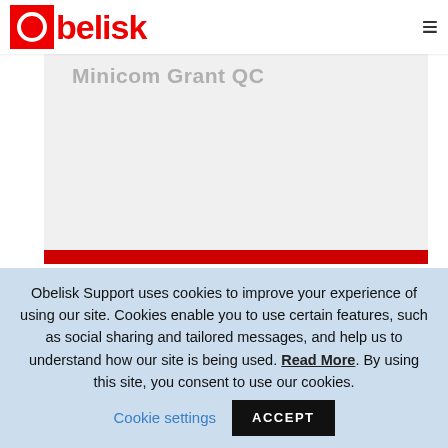Obelisk (logo) | hamburger menu
[Figure (screenshot): A partially visible card/content block with gray background, showing partial text 'Minicom Grant QC' at the top and a red bar at the bottom.]
Obelisk Support uses cookies to improve your experience of using our site. Cookies enable you to use certain features, such as social sharing and tailored messages, and help us to understand how our site is being used. Read More. By using this site, you consent to use our cookies.
Cookie settings
ACCEPT